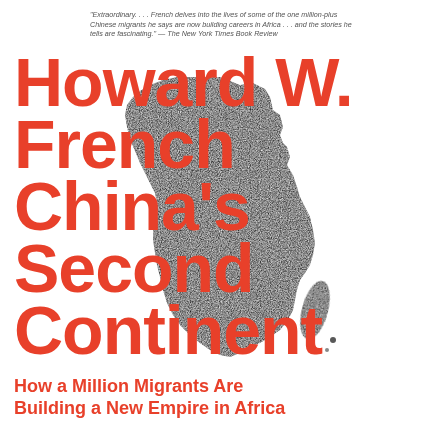"Extraordinary. . . . French delves into the lives of some of the one million-plus Chinese migrants he says are now building careers in Africa . . . and the stories he tells are fascinating." — The New York Times Book Review
Howard W. French China's Second Continent
[Figure (illustration): Black stippled silhouette map of the African continent with Madagascar visible to the lower right]
How a Million Migrants Are Building a New Empire in Africa